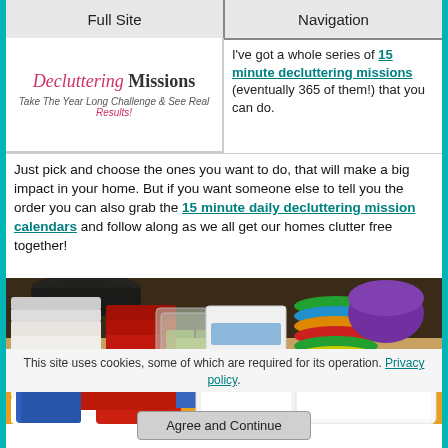Full Site | Navigation
[Figure (logo): Decluttering Missions banner — italic pink 'Decluttering' bold 'Missions', subtitle 'Take The Year Long Challenge & See Real Results!']
I've got a whole series of 15 minute decluttering missions (eventually 365 of them!) that you can do.
Just pick and choose the ones you want to do, that will make a big impact in your home. But if you want someone else to tell you the order you can also grab the 15 minute daily decluttering mission calendars and follow along as we all get our homes clutter free together!
[Figure (photo): Photo of a cluttered drawer full of mismatched plastic food storage containers and lids in various colors — white, red, blue, green, yellow, purple, black.]
This site uses cookies, some of which are required for its operation. Privacy policy.
Agree and Continue